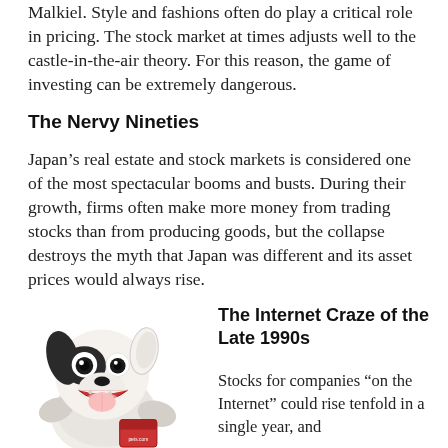Malkiel. Style and fashions often do play a critical role in pricing. The stock market at times adjusts well to the castle-in-the-air theory. For this reason, the game of investing can be extremely dangerous.
The Nervy Nineties
Japan’s real estate and stock markets is considered one of the most spectacular booms and busts. During their growth, firms often make more money from trading stocks than from producing goods, but the collapse destroys the myth that Japan was different and its asset prices would always rise.
[Figure (photo): A puppet dog mascot, black and white, appearing to be holding a small box. The puppet is associated with Pets.com internet era brand.]
The Internet Craze of the Late 1990s
Stocks for companies “on the Internet” could rise tenfold in a single year, and